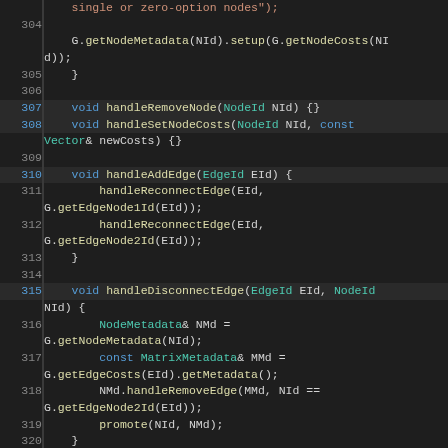[Figure (screenshot): Source code editor screenshot showing C++ code lines 304-325 with syntax highlighting. Dark background IDE with line numbers, cyan/blue/white colored keywords, types, and identifiers. Code includes handleRemoveNode, handleSetNodeCosts, handleAddEdge, handleDisconnectEdge, and handleReconnectEdge function definitions.]